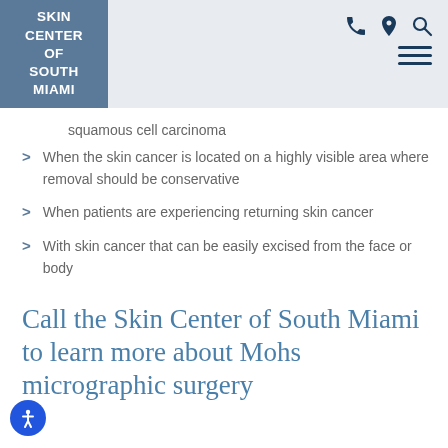[Figure (logo): Skin Center of South Miami logo — white text on steel blue square background]
Navigation icons: phone, location pin, search, hamburger menu
squamous cell carcinoma
When the skin cancer is located on a highly visible area where removal should be conservative
When patients are experiencing returning skin cancer
With skin cancer that can be easily excised from the face or body
Call the Skin Center of South Miami to learn more about Mohs micrographic surgery